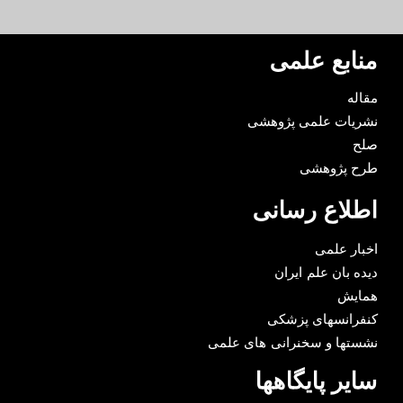منابع علمی
مقاله
نشریات علمی پژوهشی
صلح
طرح پژوهشی
اطلاع رسانی
اخبار علمی
دیده بان علم ایران
همایش
کنفرانسهای پزشکی
نشستها و سخنرانی های علمی
سایر پایگاهها